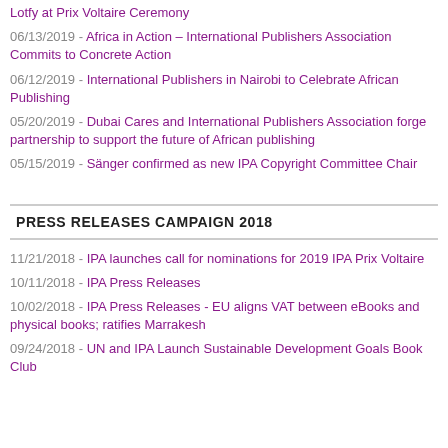Lotfy at Prix Voltaire Ceremony
06/13/2019 - Africa in Action – International Publishers Association Commits to Concrete Action
06/12/2019 - International Publishers in Nairobi to Celebrate African Publishing
05/20/2019 - Dubai Cares and International Publishers Association forge partnership to support the future of African publishing
05/15/2019 - Sänger confirmed as new IPA Copyright Committee Chair
PRESS RELEASES CAMPAIGN 2018
11/21/2018 - IPA launches call for nominations for 2019 IPA Prix Voltaire
10/11/2018 - IPA Press Releases
10/02/2018 - IPA Press Releases - EU aligns VAT between eBooks and physical books; ratifies Marrakesh
09/24/2018 - UN and IPA Launch Sustainable Development Goals Book Club